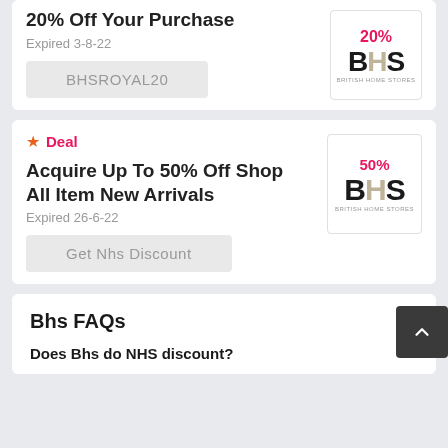20% Off Your Purchase
Expired 3-8-22
BHSROYAL20
Deal
Acquire Up To 50% Off Shop All Item New Arrivals
Expired 26-6-22
Get Nhs Discount
Bhs FAQs
Does Bhs do NHS discount?